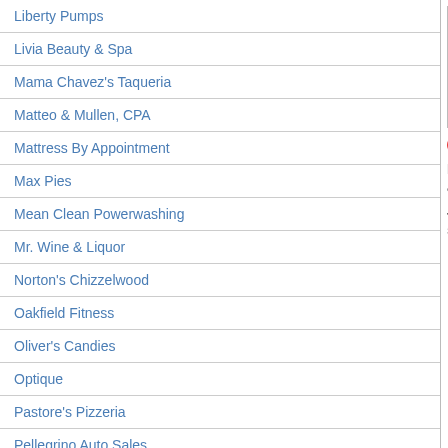Liberty Pumps
Livia Beauty & Spa
Mama Chavez's Taqueria
Matteo & Mullen, CPA
Mattress By Appointment
Max Pies
Mean Clean Powerwashing
Mr. Wine & Liquor
Norton's Chizzelwood
Oakfield Fitness
Oliver's Candies
Optique
Pastore's Pizzeria
Pellegrino Auto Sales
Pin Points
Rider Real Estate
Rochester Regional Health – UMMC
private company ... We got trapped. T... in WNY. But we ca... to take care of jus... Towns/Villages ref... protection. When t... paying more mone... their elected officia... they remember the... them and vote the...
Offline
Last seen: 1 day 20 hours ago
Joined: May 29 2008 - 5:22am
January 27, 2009 - 10:32pm
Lori Ann Santini
-
Offline
Last seen: 11 years 4 months ago